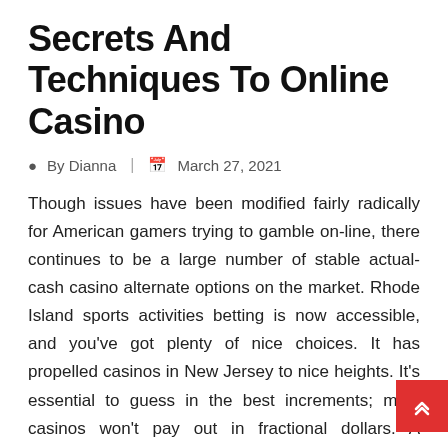Secrets And Techniques To Online Casino
By Dianna | March 27, 2021
Though issues have been modified fairly radically for American gamers trying to gamble on-line, there continues to be a large number of stable actual-cash casino alternate options on the market. Rhode Island sports activities betting is now accessible, and you've got plenty of nice choices. It has propelled casinos in New Jersey to nice heights. It's essential to guess in the best increments; most casinos won't pay out in fractional dollars. A settlement is made between the token holder and the particular person betting, which provides the